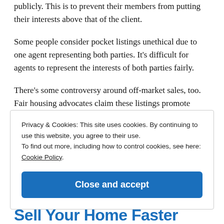publicly. This is to prevent their members from putting their interests above that of the client.
Some people consider pocket listings unethical due to one agent representing both parties. It's difficult for agents to represent the interests of both parties fairly.
There's some controversy around off-market sales, too. Fair housing advocates claim these listings promote discrimination and segregation in the real estate
Privacy & Cookies: This site uses cookies. By continuing to use this website, you agree to their use.
To find out more, including how to control cookies, see here: Cookie Policy
Close and accept
Sell Your Home Faster